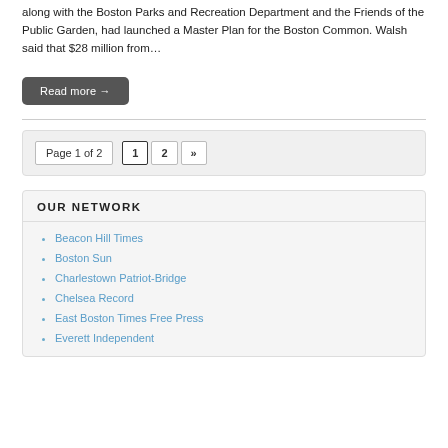along with the Boston Parks and Recreation Department and the Friends of the Public Garden, had launched a Master Plan for the Boston Common. Walsh said that $28 million from…
Read more →
Page 1 of 2  1  2  »
OUR NETWORK
Beacon Hill Times
Boston Sun
Charlestown Patriot-Bridge
Chelsea Record
East Boston Times Free Press
Everett Independent